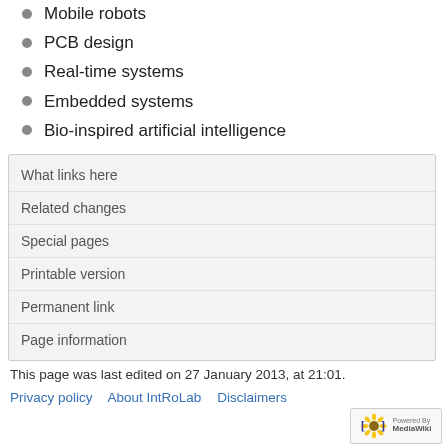Mobile robots
PCB design
Real-time systems
Embedded systems
Bio-inspired artificial intelligence
What links here
Related changes
Special pages
Printable version
Permanent link
Page information
This page was last edited on 27 January 2013, at 21:01.
Privacy policy   About IntRoLab   Disclaimers